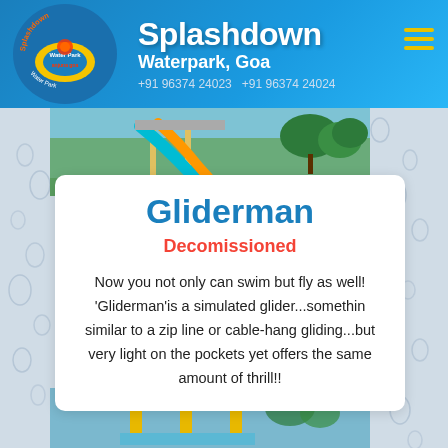Splashdown Waterpark, Goa | +91 96374 24023  +91 96374 24024
[Figure (photo): Water slides at Splashdown Waterpark, Goa - colorful slides in green surroundings]
Gliderman
Decomissioned
Now you not only can swim but fly as well! 'Gliderman'is a simulated glider...somethin similar to a zip line or cable-hang gliding...but very light on the pockets yet offers the same amount of thrill!!
[Figure (photo): Bottom photo strip showing Gliderman attraction at Splashdown Waterpark]